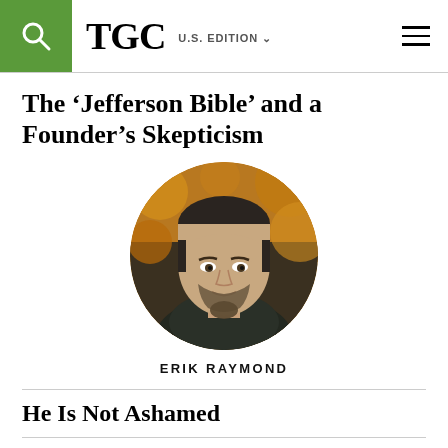TGC U.S. EDITION
The ‘Jefferson Bible’ and a Founder’s Skepticism
[Figure (photo): Circular portrait photo of a man with short dark hair and a beard, wearing a dark jacket, with a blurred autumn foliage background.]
ERIK RAYMOND
He Is Not Ashamed